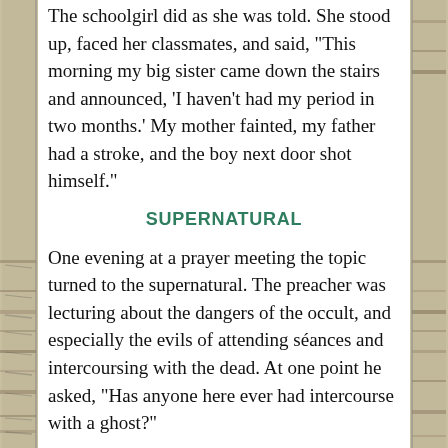The schoolgirl did as she was told. She stood up, faced her classmates, and said, "This morning my big sister came down the stairs and announced, 'I haven't had my period in two months.' My mother fainted, my father had a stroke, and the boy next door shot himself."
SUPERNATURAL
One evening at a prayer meeting the topic turned to the supernatural. The preacher was lecturing about the dangers of the occult, and especially the evils of attending séances and intercoursing with the dead. At one point he asked, "Has anyone here ever had intercourse with a ghost?"
A little old lady in the back raised her hand. "I have!" her crackly voice declared.
"You have?!" the preacher replied with